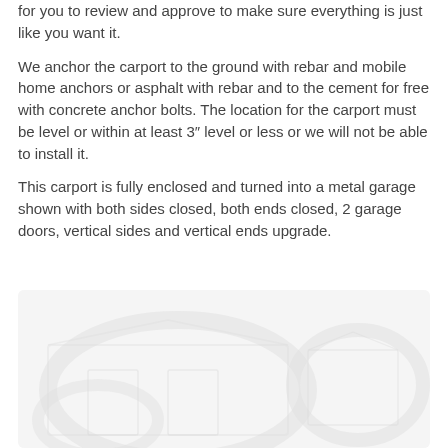for you to review and approve to make sure everything is just like you want it.
We anchor the carport to the ground with rebar and mobile home anchors or asphalt with rebar and to the cement for free with concrete anchor bolts. The location for the carport must be level or within at least 3″ level or less or we will not be able to install it.
This carport is fully enclosed and turned into a metal garage shown with both sides closed, both ends closed, 2 garage doors, vertical sides and vertical ends upgrade.
[Figure (photo): A faded/watermarked photo of a metal garage or carport structure, shown with light gray tones on white background.]